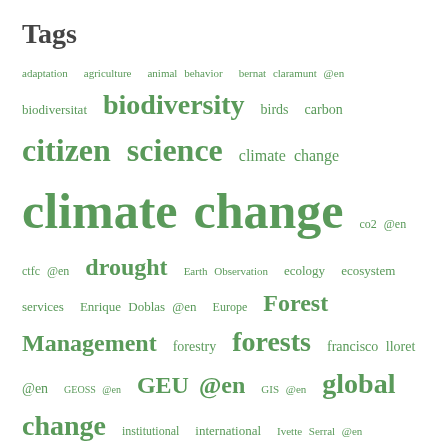Tags
[Figure (infographic): Tag cloud with ecology/science/environment terms in various font sizes, all in green. Larger tags indicate higher frequency. Terms include: adaptation, agriculture, animal behavior, bernat claramunt @en, biodiversitat, biodiversity, birds, carbon, citizen science, climate change, climate change (very large), co2 @en, ctfc @en, drought, Earth Observation, ecology, ecosystem services, Enrique Doblas @en, Europe, Forest Management, forestry, forests, francisco lloret @en, GEOSS @en, GEU @en, GIS @en, global change, institutional, international, Ivette Serral @en, Jaume Terradas @en, Joan Masó @en, joan pino @en, jordi sardans @en, josep peñuelas, Josep Peñuelas @en (very large), Lluis brotons @en, Lluis Pesquer @en, Mediterranean, mosquito alert @en, plants, remote sensing, SIG]